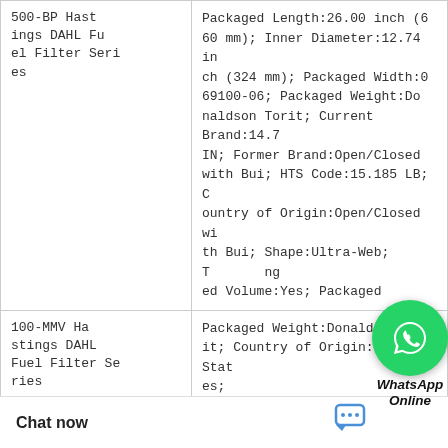| Product | Specifications |
| --- | --- |
| 500-BP Hastings DAHL Fuel Filter Series | Packaged Length:26.00 inch (660 mm); Inner Diameter:12.74 inch (324 mm); Packaged Width:069100-06; Packaged Weight:Donaldson Torit; Current Brand:14.7 IN; Former Brand:Open/Closed with Bui; HTS Code:15.185 LB; Country of Origin:Open/Closed with Bui; Shape:Ultra-Web; Tagged Volume:Yes; Packaged |
| 100-MMV Hastings DAHL Fuel Filter Series | Packaged Weight:Donaldson Torit; Country of Origin:United States; |
|  | Temperature Limit:176 °F (80 °C); NMFC Code:3.39 inch (86 mm); Packaged Volume:1.4301 / 3 m); Country of Origin:No Connec; Anti-Stati |
[Figure (other): WhatsApp Online button overlay with green circle phone icon and italic bold text 'WhatsApp Online']
Chat now